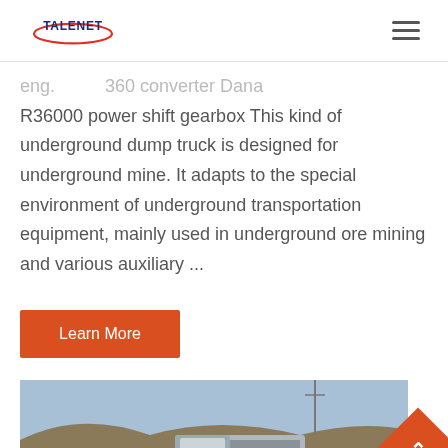TALENET [logo] [hamburger menu]
eng. ... 360 converter Dana R36000 power shift gearbox This kind of underground dump truck is designed for underground mine. It adapts to the special environment of underground transportation equipment, mainly used in underground ore mining and various auxiliary ...
Learn More
[Figure (photo): Photo of trucks and heavy vehicles parked outdoors with hills in the background]